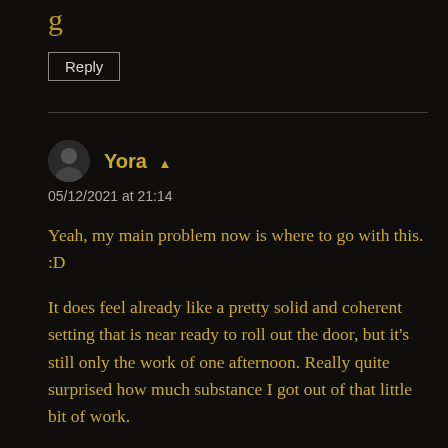[Figure (other): Partial heading text cut off at top of page]
Reply
Yora ▲
05/12/2021 at 21:14

Yeah, my main problem now is where to go with this. :D

It does feel already like a pretty solid and coherent setting that is near ready to roll out the door, but it's still only the work of one afternoon. Really quite surprised how much substance I got out of that little bit of work.